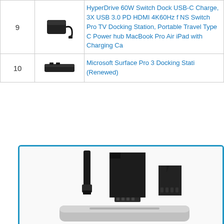| # | Image | Name |
| --- | --- | --- |
| 9 | [image] | HyperDrive 60W Switch Dock USB-C Charge, 3X USB 3.0 PD HDMI 4K60Hz f NS Switch Pro TV Docking Station, Portable Travel Type C Power hub MacBook Pro Air iPad with Charging Ca |
| 10 | [image] | Microsoft Surface Pro 3 Docking Stati (Renewed) |
[Figure (photo): Product photo showing USB-C cable, SD card adapter, microSD card and a docking station base, inside a blue-bordered box.]